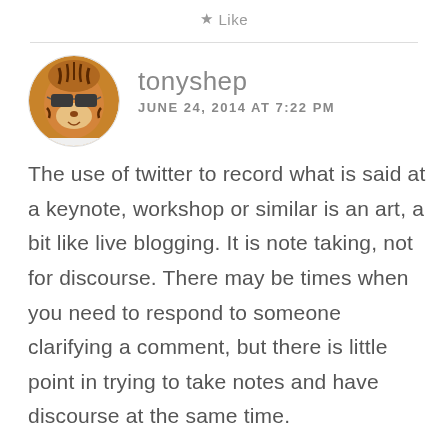★ Like
[Figure (photo): Circular avatar photo of a person wearing a decorative tiger/animal face mask with sunglasses, with orange and brown face paint markings]
tonyshep
JUNE 24, 2014 AT 7:22 PM
The use of twitter to record what is said at a keynote, workshop or similar is an art, a bit like live blogging. It is note taking, not for discourse. There may be times when you need to respond to someone clarifying a comment, but there is little point in trying to take notes and have discourse at the same time.